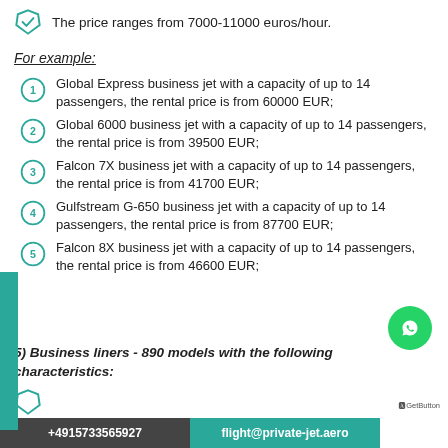The price ranges from 7000-11000 euros/hour.
For example:
Global Express business jet with a capacity of up to 14 passengers, the rental price is from 60000 EUR;
Global 6000 business jet with a capacity of up to 14 passengers, the rental price is from 39500 EUR;
Falcon 7X business jet with a capacity of up to 14 passengers, the rental price is from 41700 EUR;
Gulfstream G-650 business jet with a capacity of up to 14 passengers, the rental price is from 87700 EUR;
Falcon 8X business jet with a capacity of up to 14 passengers, the rental price is from 46600 EUR;
5) Business liners - 890 models with the following characteristics:
+4915733565927 | flight@private-jet.aero